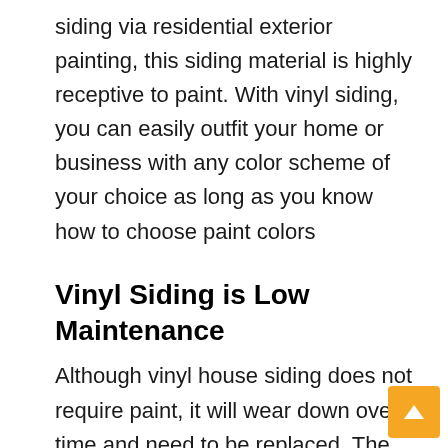siding via residential exterior painting, this siding material is highly receptive to paint. With vinyl siding, you can easily outfit your home or business with any color scheme of your choice as long as you know how to choose paint colors
Vinyl Siding is Low Maintenance
Although vinyl house siding does not require paint, it will wear down over time and need to be replaced. The occasional cobwebs, bugs, mud, and other debris can easily be sprayed down using a garden hose. Never use a power washer on your vinyl siding, as this could cause serious havoc if the water enters your home through and damaged the siding or any other areas.